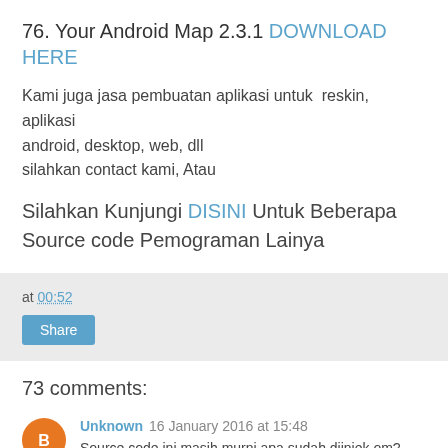76. Your Android Map 2.3.1 DOWNLOAD HERE
Kami juga jasa pembuatan aplikasi untuk  reskin, aplikasi android, desktop, web, dll
silahkan contact kami, Atau
Silahkan Kunjungi DISINI Untuk Beberapa Source code Pemograman Lainya
at 00:52
Share
73 comments:
Unknown 16 January 2016 at 15:48
Source code ini masih murni apa sudah diiniek om?